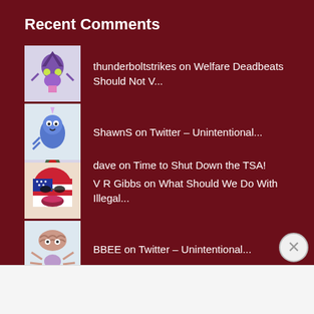Recent Comments
thunderboltstrikes on Welfare Deadbeats Should Not V...
dave on Time to Shut Down the TSA!
ShawnS on Twitter – Unintentional...
V R Gibbs on What Should We Do With Illegal...
BBEE on Twitter – Unintentional...
Advertisements
Getting your team on the same page is easy. And free.